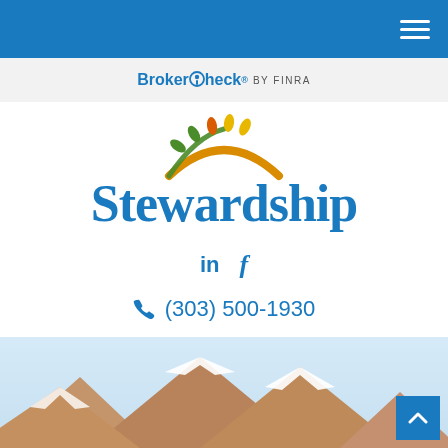BrokerCheck by FINRA
[Figure (logo): Stewardship company logo with sun/arc graphic above the word Stewardship in blue serif font]
in f
(303) 500-1930
[Figure (photo): Snow-capped mountain peaks against a light blue sky background]